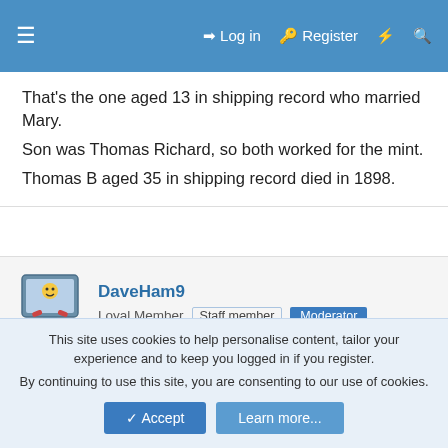≡   Log in   Register   ⚡   🔍
That's the one aged 13 in shipping record who married Mary.
Son was Thomas Richard, so both worked for the mint.
Thomas B aged 35 in shipping record died in 1898.
DaveHam9
Loyal Member  Staff member  Moderator
17 May 2015  #10
Death 5908/1920 GOLDFINCH MARY - THOMAS - - PETERSHAM ** 8 Apr 1920
This site uses cookies to help personalise content, tailor your experience and to keep you logged in if you register.
By continuing to use this site, you are consenting to our use of cookies.
Accept  Learn more...